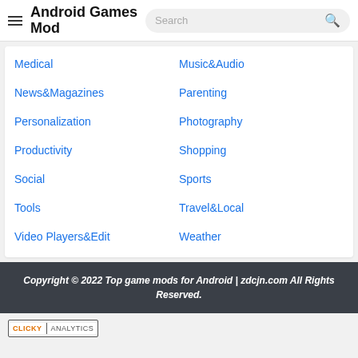Android Games Mod
Medical
Music&Audio
News&Magazines
Parenting
Personalization
Photography
Productivity
Shopping
Social
Sports
Tools
Travel&Local
Video Players&Edit
Weather
Copyright © 2022 Top game mods for Android | zdcjn.com All Rights Reserved.
[Figure (logo): Clicky Analytics badge logo]